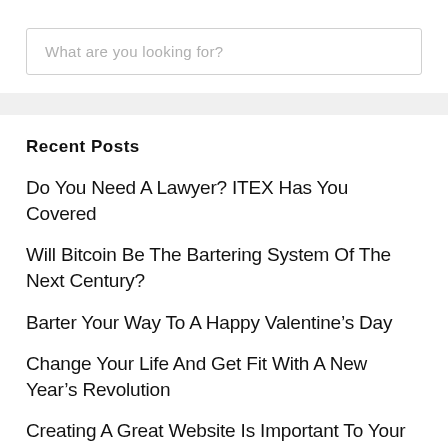What are you looking for?
Recent Posts
Do You Need A Lawyer? ITEX Has You Covered
Will Bitcoin Be The Bartering System Of The Next Century?
Barter Your Way To A Happy Valentine’s Day
Change Your Life And Get Fit With A New Year’s Revolution
Creating A Great Website Is Important To Your Business